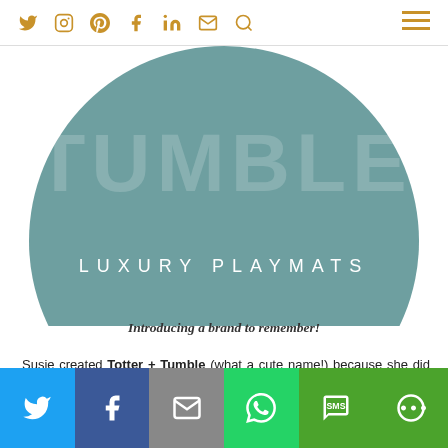Navigation bar with social icons: Twitter, Instagram, Pinterest, Facebook, LinkedIn, Email, Search, and hamburger menu
[Figure (logo): Totter + Tumble circular teal logo with 'LUXURY PLAYMATS' text]
Introducing a brand to remember!
Susie created Totter + Tumble (what a cute name!) because she did not want to choose between functionality and style. She wanted both and she is so right!
[Figure (photo): Partial photo of a person and brick wall background]
Social share bar: Twitter, Facebook, Email, WhatsApp, SMS, More